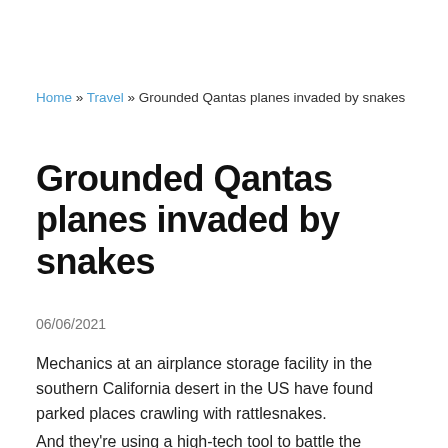Home » Travel » Grounded Qantas planes invaded by snakes
Grounded Qantas planes invaded by snakes
06/06/2021
Mechanics at an airplance storage facility in the southern California desert in the US have found parked places crawling with rattlesnakes.
And they're using a high-tech tool to battle the venomous rattlers: broom handles.